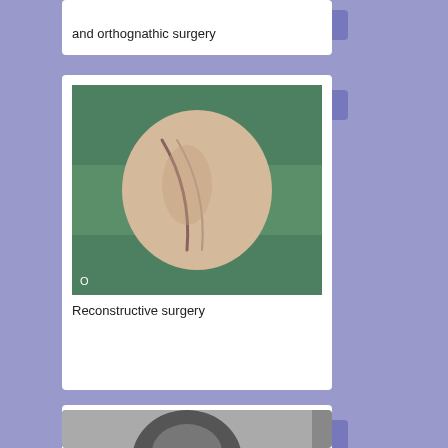and orthognathic surgery
[Figure (photo): Clinical photograph showing a patient's forearm/leg with a surgical scar, resting on green surgical draping]
Reconstructive surgery
[Figure (illustration): Medical illustration of comprehensive trunk anatomy showing cross-sectional view with labeled anatomical structures including muscles, vessels, and organs]
Comprehensive trunk anatomy
[Figure (photo): Partial photo visible at bottom of page, appears to show a person's head/face]